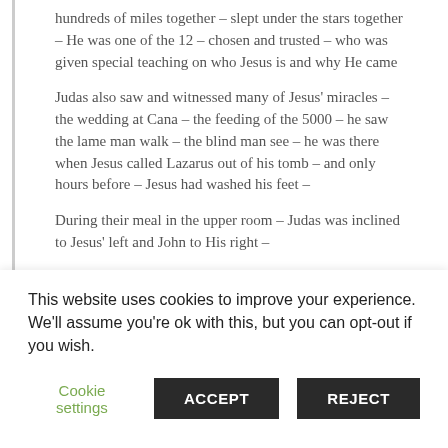hundreds of miles together – slept under the stars together – He was one of the 12 – chosen and trusted – who was given special teaching on who Jesus is and why He came
Judas also saw and witnessed many of Jesus' miracles – the wedding at Cana – the feeding of the 5000 – he saw the lame man walk – the blind man see – he was there when Jesus called Lazarus out of his tomb – and only hours before – Jesus had washed his feet –
During their meal in the upper room – Judas was inclined to Jesus' left and John to His right –
They could easily talk to one another without attracting the attention of the other disciples – or
This website uses cookies to improve your experience. We'll assume you're ok with this, but you can opt-out if you wish.